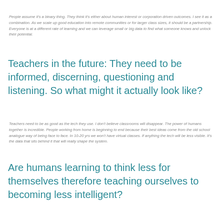People assume it's a binary thing. They think it's either about human interest or corporation driven outcomes. I see it as a combination. As we scale up good education into remote communities or for larger class sizes, it should be a partnership. Everyone is at a different rate of learning and we can leverage small or big data to find what someone knows and unlock their potential.
Teachers in the future: They need to be informed, discerning, questioning and listening. So what might it actually look like?
Teachers need to be as good as the tech they use. I don't believe classrooms will disappear. The power of humans together is incredible. People working from home is beginning to end because their best ideas come from the old school analogue way of being face to face. In 10-20 yrs we won't have virtual classes. If anything the tech will be less visible. It's the data that sits behind it that will really shape the system.
Are humans learning to think less for themselves therefore teaching ourselves to becoming less intelligent?